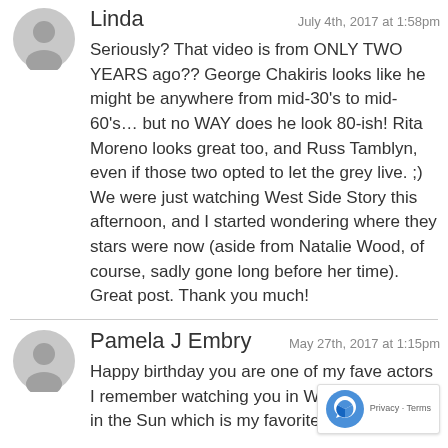Linda
July 4th, 2017 at 1:58pm
Seriously? That video is from ONLY TWO YEARS ago?? George Chakiris looks like he might be anywhere from mid-30's to mid-60's... but no WAY does he look 80-ish! Rita Moreno looks great too, and Russ Tamblyn, even if those two opted to let the grey live. ;) We were just watching West Side Story this afternoon, and I started wondering where they stars were now (aside from Natalie Wood, of course, sadly gone long before her time).
Great post. Thank you much!
Pamela J Embry
May 27th, 2017 at 1:15pm
Happy birthday you are one of my fave actors I remember watching you in We... Story flower in the Sun which is my favorite